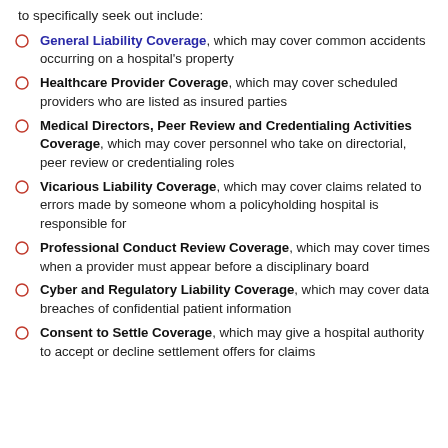to specifically seek out include:
General Liability Coverage, which may cover common accidents occurring on a hospital's property
Healthcare Provider Coverage, which may cover scheduled providers who are listed as insured parties
Medical Directors, Peer Review and Credentialing Activities Coverage, which may cover personnel who take on directorial, peer review or credentialing roles
Vicarious Liability Coverage, which may cover claims related to errors made by someone whom a policyholding hospital is responsible for
Professional Conduct Review Coverage, which may cover times when a provider must appear before a disciplinary board
Cyber and Regulatory Liability Coverage, which may cover data breaches of confidential patient information
Consent to Settle Coverage, which may give a hospital authority to accept or decline settlement offers for claims